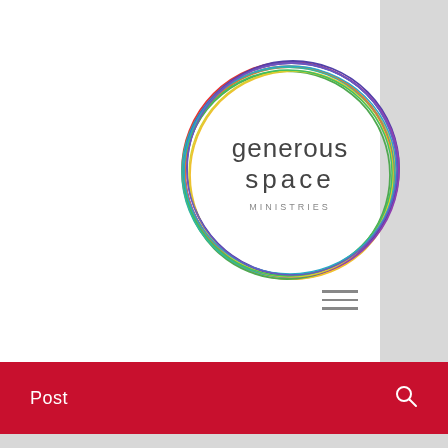[Figure (logo): Generous Space Ministries circular logo with colorful overlapping oval rings and text 'generous space MINISTRIES' in the center]
Post
All Posts
Generous Space Ministries
May 6, 2015 · 3 min
Why this gay-